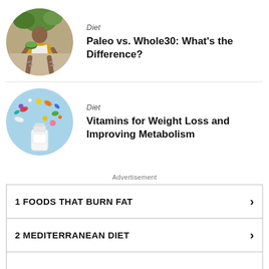[Figure (photo): Circular photo of a woman sitting cross-legged outdoors holding a bowl of food, wearing a yellow cardigan]
Diet
Paleo vs. Whole30: What's the Difference?
[Figure (photo): Circular photo of colorful vitamins and supplements scattered around a white bottle on a blue background]
Diet
Vitamins for Weight Loss and Improving Metabolism
Advertisement
1 FOODS THAT BURN FAT >
2 MEDITERRANEAN DIET >